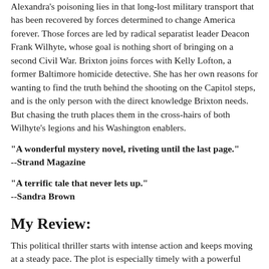Alexandra's poisoning lies in that long-lost military transport that has been recovered by forces determined to change America forever. Those forces are led by radical separatist leader Deacon Frank Wilhyte, whose goal is nothing short of bringing on a second Civil War. Brixton joins forces with Kelly Lofton, a former Baltimore homicide detective. She has her own reasons for wanting to find the truth behind the shooting on the Capitol steps, and is the only person with the direct knowledge Brixton needs. But chasing the truth places them in the cross-hairs of both Wilhyte's legions and his Washington enablers.
"A wonderful mystery novel, riveting until the last page."
--Strand Magazine
"A terrific tale that never lets up."
--Sandra Brown
My Review:
This political thriller starts with intense action and keeps moving at a steady pace. The plot is especially timely with a powerful man coordinating fringe militia groups, attempting to disrupt life in the